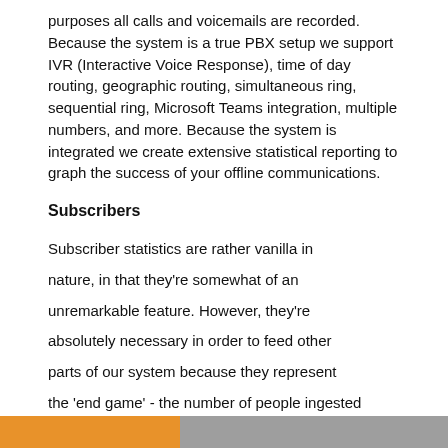purposes all calls and voicemails are recorded. Because the system is a true PBX setup we support IVR (Interactive Voice Response), time of day routing, geographic routing, simultaneous ring, sequential ring, Microsoft Teams integration, multiple numbers, and more. Because the system is integrated we create extensive statistical reporting to graph the success of your offline communications.
Subscribers
Subscriber statistics are rather vanilla in nature, in that they're somewhat of an unremarkable feature. However, they're absolutely necessary in order to feed other parts of our system because they represent the 'end game' - the number of people ingested into your funnel (remembering the primary